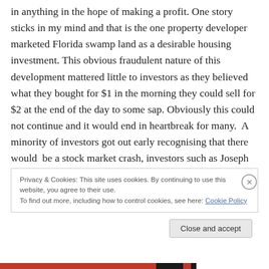in anything in the hope of making a profit. One story sticks in my mind and that is the one property developer marketed Florida swamp land as a desirable housing investment. This obvious fraudulent nature of this development mattered little to investors as they believed what they bought for $1 in the morning they could sell for $2 at the end of the day to some sap. Obviously this could not continue and it would end in heartbreak for many.  A minority of investors got out early recognising that there would  be a stock market crash, investors such as Joseph Kennedy. The soon to be multi millionaire father of JFK.
Privacy & Cookies: This site uses cookies. By continuing to use this website, you agree to their use.
To find out more, including how to control cookies, see here: Cookie Policy